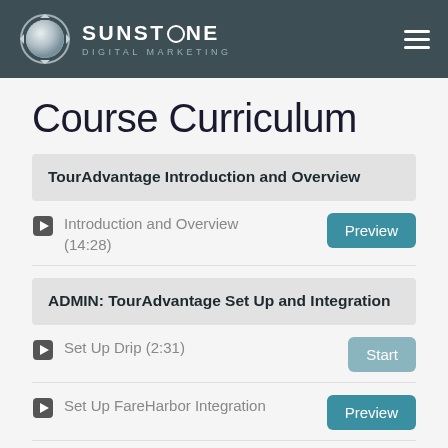SUNSTONE DIGITAL MARKETING
Course Curriculum
TourAdvantage Introduction and Overview
Introduction and Overview (14:28)
ADMIN: TourAdvantage Set Up and Integration
Set Up Drip (2:31)
Set Up FareHarbor Integration